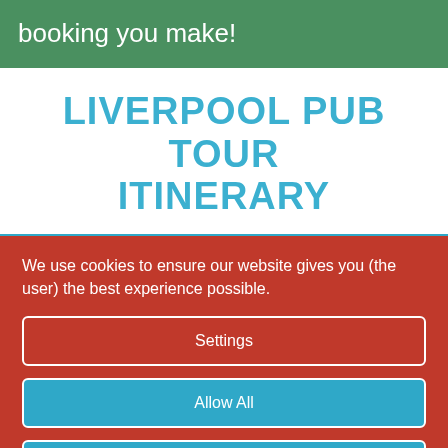booking you make!
LIVERPOOL PUB TOUR ITINERARY
THE PHILHARMONIC PUB
Why? Well... English Heritage considers this to be the
We use cookies to ensure our website gives you (the user) the best experience possible.
Settings
Allow All
Decline All